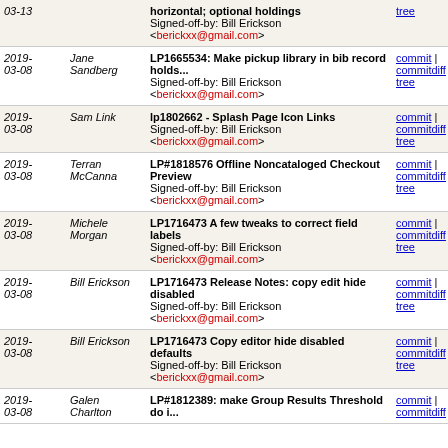| Date | Author | Message | Links |
| --- | --- | --- | --- |
| 2019-03-13 |  | horizontal; optional holdings
Signed-off-by: Bill Erickson <berickxx@gmail.com> | commit | commitdiff | tree |
| 2019-03-08 | Jane Sandberg | LP1665534: Make pickup library in bib record holds...
Signed-off-by: Bill Erickson <berickxx@gmail.com> | commit | commitdiff | tree |
| 2019-03-08 | Sam Link | lp1802662 - Splash Page Icon Links
Signed-off-by: Bill Erickson <berickxx@gmail.com> | commit | commitdiff | tree |
| 2019-03-08 | Terran McCanna | LP#1818576 Offline Noncataloged Checkout Preview
Signed-off-by: Bill Erickson <berickxx@gmail.com> | commit | commitdiff | tree |
| 2019-03-08 | Michele Morgan | LP1716473 A few tweaks to correct field labels
Signed-off-by: Bill Erickson <berickxx@gmail.com> | commit | commitdiff | tree |
| 2019-03-08 | Bill Erickson | LP1716473 Release Notes: copy edit hide disabled
Signed-off-by: Bill Erickson <berickxx@gmail.com> | commit | commitdiff | tree |
| 2019-03-08 | Bill Erickson | LP1716473 Copy editor hide disabled defaults
Signed-off-by: Bill Erickson <berickxx@gmail.com> | commit | commitdiff | tree |
| 2019-03-08 | Galen Charlton | LP#1812389: make Group Results Threshold do i... | commit | commitdiff | tree |